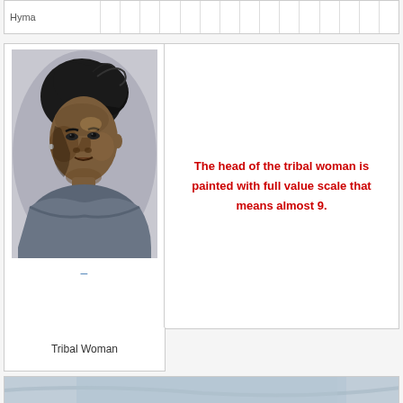| Hyma |  |  |  |  |  |  |  |  |  |  |  |  |  |  |  |
| --- | --- | --- | --- | --- | --- | --- | --- | --- | --- | --- | --- | --- | --- | --- | --- |
|  |
[Figure (illustration): Black and white painted portrait of a tribal woman, head and shoulders, realistic painterly style in grayscale tones.]
The head of the tribal woman is painted with full value scale that means almost 9.
Tribal Woman
[Figure (photo): Partial view of another artwork or photograph, mostly grey/blue tones, cut off at bottom of page.]